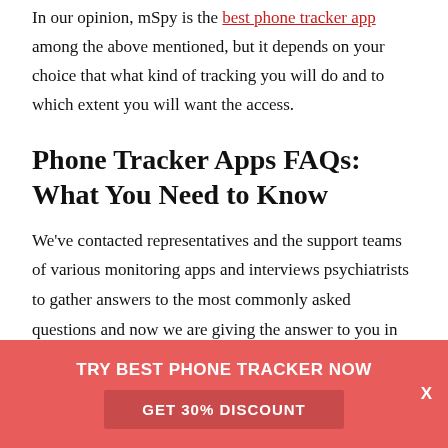In our opinion, mSpy is the best phone tracker app among the above mentioned, but it depends on your choice that what kind of tracking you will do and to which extent you will want the access.
Phone Tracker Apps FAQs: What You Need to Know
We've contacted representatives and the support teams of various monitoring apps and interviews psychiatrists to gather answers to the most commonly asked questions and now we are giving the answer to you in this guide.
[Figure (infographic): Coral/red promotional banner with white text 'TRY BEST PHONE TRACKER NOW', a darker red button 'GET 30% DISCOUNT', and a white 'X' close button on the right.]